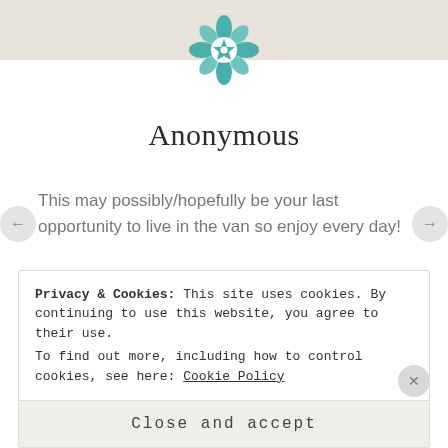[Figure (logo): Teal geometric star/floral ornament logo]
Anonymous
This may possibly/hopefully be your last opportunity to live in the van so enjoy every day!
★ Like
↪ REPLY
JANUARY 27, 2016 AT 5:12 AM
Privacy & Cookies: This site uses cookies. By continuing to use this website, you agree to their use.
To find out more, including how to control cookies, see here: Cookie Policy
Close and accept